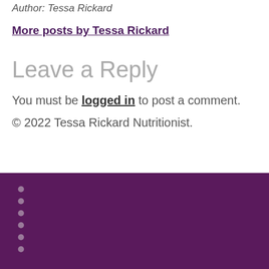Author: Tessa Rickard
More posts by Tessa Rickard
Leave a Reply
You must be logged in to post a comment.
© 2022 Tessa Rickard Nutritionist.